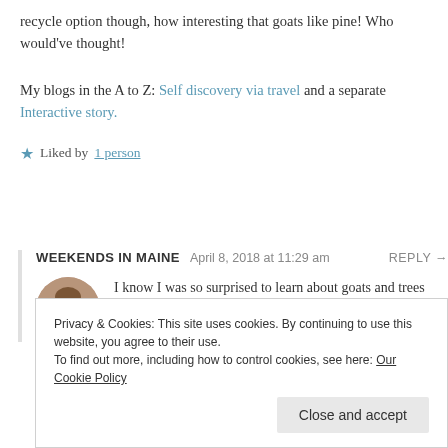recycle option though, how interesting that goats like pine! Who would've thought!
My blogs in the A to Z: Self discovery via travel and a separate Interactive story.
★ Liked by 1 person
WEEKENDS IN MAINE  April 8, 2018 at 11:29 am  REPLY →
I know I was so surprised to learn about goats and trees too. I am a little over the top with the trees but I love it. I'm sure I'll
Privacy & Cookies: This site uses cookies. By continuing to use this website, you agree to their use.
To find out more, including how to control cookies, see here: Our Cookie Policy
Close and accept